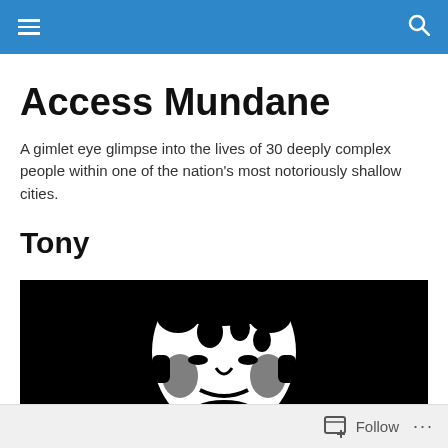Access Mundane — navigation header with hamburger menu and search icon
Access Mundane
A gimlet eye glimpse into the lives of 30 deeply complex people within one of the nation's most notoriously shallow cities.
Tony
[Figure (illustration): High-contrast black and white stylized illustration of a man's face against a black background]
Follow  ...